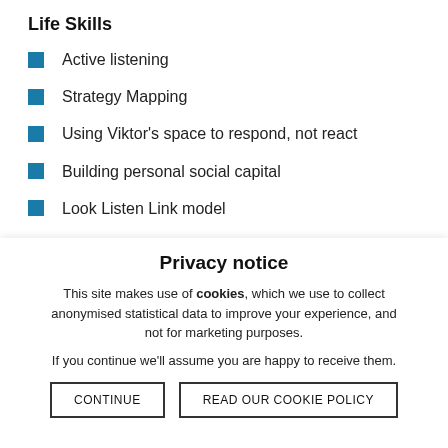Life Skills
Active listening
Strategy Mapping
Using Viktor's space to respond, not react
Building personal social capital
Look Listen Link model
Privacy notice
This site makes use of cookies, which we use to collect anonymised statistical data to improve your experience, and not for marketing purposes.
If you continue we'll assume you are happy to receive them.
CONTINUE
READ OUR COOKIE POLICY